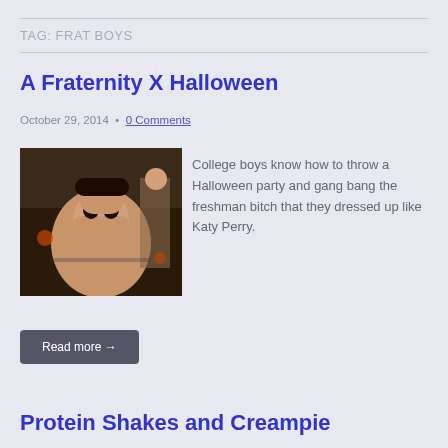TAG: FRAT BOYS
A Fraternity X Halloween
October 29, 2014 • 0 Comments
[Figure (photo): Photo of people at a Halloween party]
College boys know how to throw a Halloween party and gang bang the freshman bitch that they dressed up like Katy Perry.
Read more →
Protein Shakes and Creampie